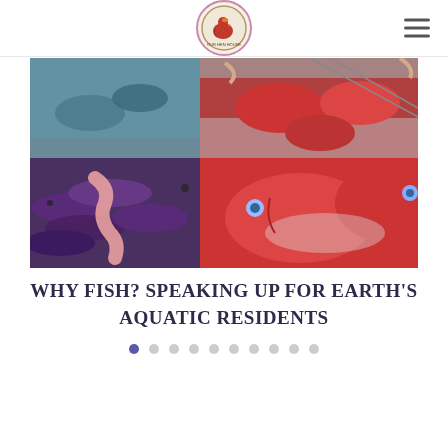Our Hen House logo and navigation
[Figure (photo): Collage of four fish-related photos: top-left shows fish at market, top-right shows whole red fish on ice at market, bottom-left shows pile of purple/dark colored fish with a large worm, bottom-right shows large red fish with blue eyes on display at a fish market.]
WHY FISH? SPEAKING UP FOR EARTH'S AQUATIC RESIDENTS
Slideshow navigation dots (10 total, first dot active)